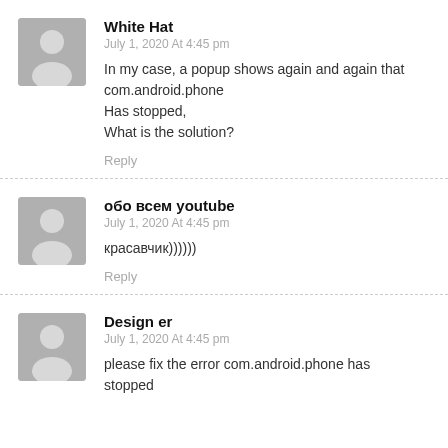White Hat
July 1, 2020 At 4:45 pm
In my case, a popup shows again and again that com.android.phone
Has stopped,
What is the solution?
Reply
обо всем youtube
July 1, 2020 At 4:45 pm
красавчик))))))
Reply
Design er
July 1, 2020 At 4:45 pm
please fix the error com.android.phone has stopped